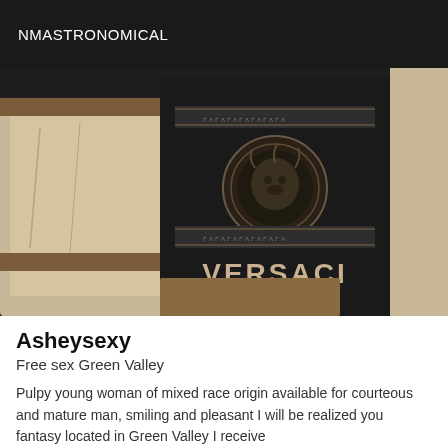NMASTRONOMICAL
[Figure (photo): A dark Versace branded item (appears to be a boot or bag) with the Medusa logo emblem and VERSACI text, placed next to a tan/cream cushioned object, photographed in dim lighting.]
Asheysexy
Free sex Green Valley
Pulpy young woman of mixed race origin available for courteous and mature man, smiling and pleasant I will be realized you fantasy located in Green Valley I receive